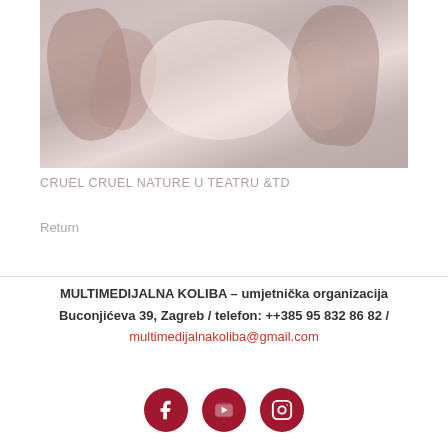[Figure (photo): Faded/washed out photo of people in physical performance or dance poses]
CRUEL CRUEL NATURE U TEATRU &TD
Return
MULTIMEDIJALNA KOLIBA – umjetnička organizacija
Buconjićeva 39, Zagreb / telefon: ++385 95 832 86 82 /
multimedijalnakoliba@gmail.com
[Figure (infographic): Three dark red circular social media icons: Facebook, YouTube, Instagram]